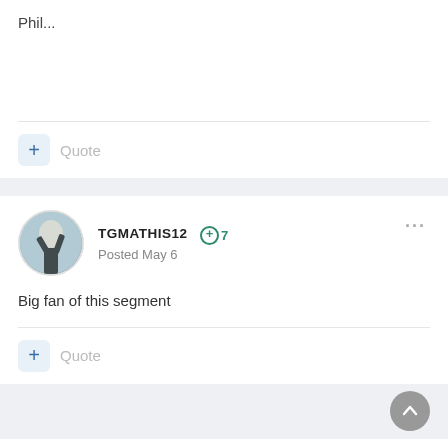Phil...
Quote
TGMATHIS12 +7 Posted May 6
Big fan of this segment
Quote
BK_STROZIER +33 Posted May 6